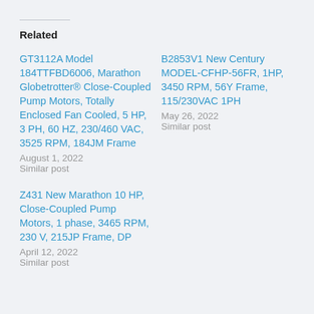Related
GT3112A Model 184TTFBD6006, Marathon Globetrotter® Close-Coupled Pump Motors, Totally Enclosed Fan Cooled, 5 HP, 3 PH, 60 HZ, 230/460 VAC, 3525 RPM, 184JM Frame
August 1, 2022
Similar post
B2853V1 New Century MODEL-CFHP-56FR, 1HP, 3450 RPM, 56Y Frame, 115/230VAC 1PH
May 26, 2022
Similar post
Z431 New Marathon 10 HP, Close-Coupled Pump Motors, 1 phase, 3465 RPM, 230 V, 215JP Frame, DP
April 12, 2022
Similar post